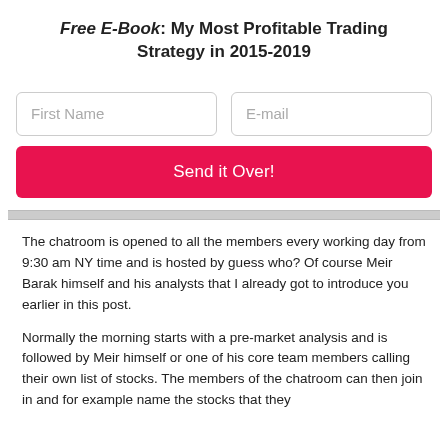Free E-Book: My Most Profitable Trading Strategy in 2015-2019
[Figure (screenshot): Web form with First Name and E-mail input fields and a pink 'Send it Over!' button]
The chatroom is opened to all the members every working day from 9:30 am NY time and is hosted by guess who? Of course Meir Barak himself and his analysts that I already got to introduce you earlier in this post.
Normally the morning starts with a pre-market analysis and is followed by Meir himself or one of his core team members calling their own list of stocks. The members of the chatroom can then join in and for example name the stocks that they